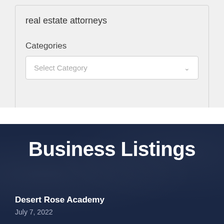real estate attorneys
Categories
Select Category
Business Listings
Desert Rose Academy
July 7, 2022